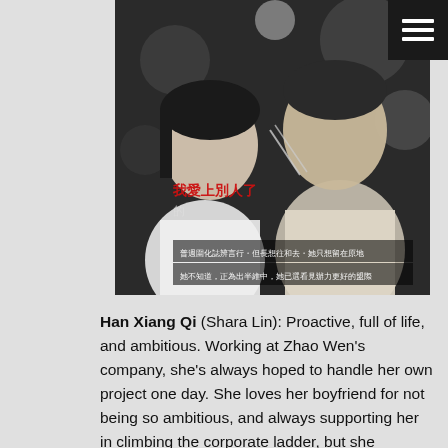[Figure (photo): Black and white photo of two people facing each other closely, with Chinese subtitle text and red Chinese characters overlaid on the image.]
Han Xiang Qi (Shara Lin): Proactive, full of life, and ambitious. Working at Zhao Wen's company, she's always hoped to handle her own project one day. She loves her boyfriend for not being so ambitious, and always supporting her in climbing the corporate ladder, but she